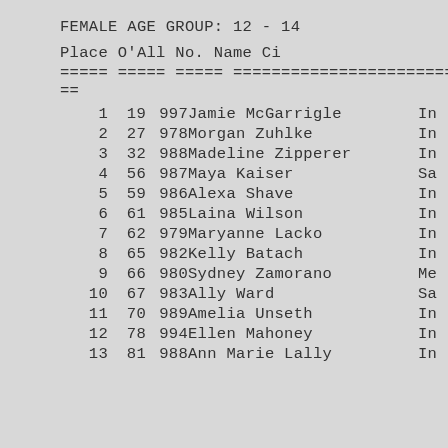FEMALE AGE GROUP:  12 - 14
| Place | O'All | No. | Name | Ci |
| --- | --- | --- | --- | --- |
| 1 | 19 | 997 | Jamie McGarrigle | In |
| 2 | 27 | 978 | Morgan Zuhlke | In |
| 3 | 32 | 988 | Madeline Zipperer | In |
| 4 | 56 | 987 | Maya Kaiser | Sa |
| 5 | 59 | 986 | Alexa Shave | In |
| 6 | 61 | 985 | Laina Wilson | In |
| 7 | 62 | 979 | Maryanne Lacko | In |
| 8 | 65 | 982 | Kelly Batach | In |
| 9 | 66 | 980 | Sydney Zamorano | Me |
| 10 | 67 | 983 | Ally Ward | Sa |
| 11 | 70 | 989 | Amelia Unseth | In |
| 12 | 78 | 994 | Ellen Mahoney | In |
| 13 | 81 | 988 | Ann Marie Lally | In |